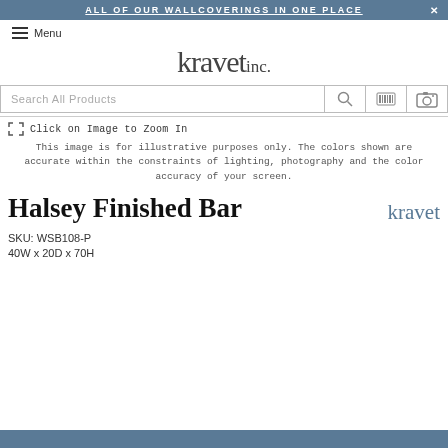ALL OF OUR WALLCOVERINGS IN ONE PLACE
Menu
[Figure (logo): Kravet inc. logo in large serif font]
Search All Products
Click on Image to Zoom In
This image is for illustrative purposes only. The colors shown are accurate within the constraints of lighting, photography and the color accuracy of your screen.
Halsey Finished Bar
[Figure (logo): kravet brand logo in blue]
SKU: WSB108-P
40W x 20D x 70H